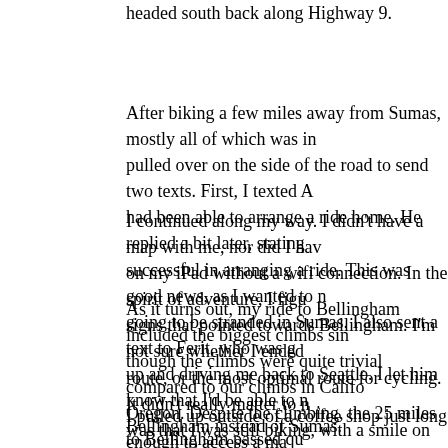headed south back along Highway 9.
After biking a few miles away from Sumas, mostly all of which was in pulled over on the side of the road to send two texts. First, I texted A had been able to arrange a ride home. He replied a bit later, stating successful in arranging a ride. This was good news, as I wanted to n going to be stranded in Sumas. I also sent a text to Ferit, who was g up and driving me back to Seattle. I let him know that I'd be able to n Bellingham instead of Sumas.
I continued along my way. I didn't have a map with me, nor did I hav on my iPad without a wifi connection. In the spirit of adventure, I figu signs that pointed towards Bellingham. I'm not sure whether I ended route, or the most optimal route for cycling. It didn't really matter to n was that I was still biking, with a smile on my face.
As it turns out, my ride to Bellingham included the biggest climbs sin though the climbs were quite trivial compared to our climbs in Califo Oregon. Despite the climbing, the 25 miles to Bellingham passed qu ride through Bellingham, as I had only been to Bellingham once befo automobile.
I pulled up outside of a coffee shop just long enough to access a ma wifi. I identified a place to meet with Ferit at the south end of Belling